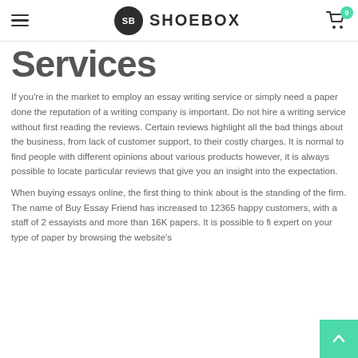SHOEBOX
Services
If you're in the market to employ an essay writing service or simply need a paper done the reputation of a writing company is important. Do not hire a writing service without first reading the reviews. Certain reviews highlight all the bad things about the business, from lack of customer support, to their costly charges. It is normal to find people with different opinions about various products however, it is always possible to locate particular reviews that give you an insight into the expectation.
When buying essays online, the first thing to think about is the standing of the firm. The name of Buy Essay Friend has increased to 12365 happy customers, with a staff of 2 essayists and more than 16K papers. It is possible to fi expert on your type of paper by browsing the website's